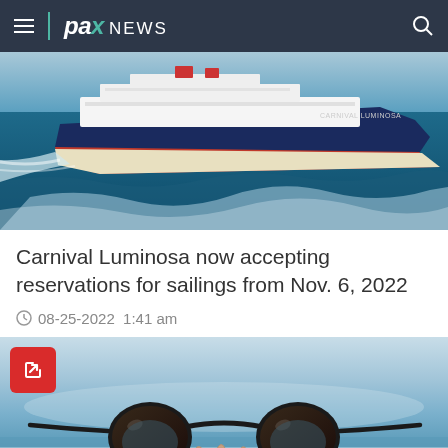pax NEWS
[Figure (photo): Carnival Luminosa cruise ship sailing at sea, dark blue hull with white superstructure]
Carnival Luminosa now accepting reservations for sailings from Nov. 6, 2022
08-25-2022  1:41 am
[Figure (photo): Sunglasses resting on sand with ocean and blue sky in background]